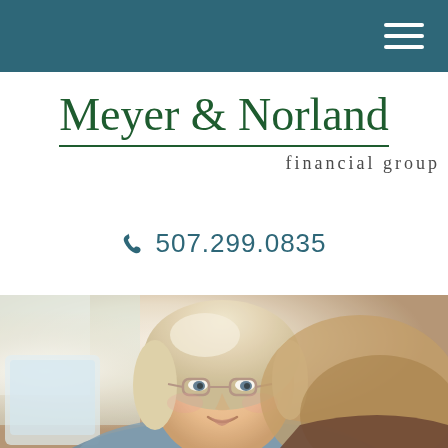Meyer & Norland financial group navigation bar
Meyer & Norland
financial group
507.299.0835
[Figure (photo): Elderly woman with short blonde hair and glasses, smiling and looking at a tablet device, relaxing on a couch with warm lighting in the background.]